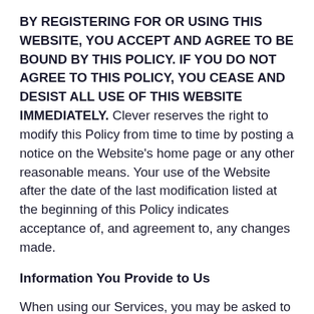BY REGISTERING FOR OR USING THIS WEBSITE, YOU ACCEPT AND AGREE TO BE BOUND BY THIS POLICY. IF YOU DO NOT AGREE TO THIS POLICY, YOU CEASE AND DESIST ALL USE OF THIS WEBSITE IMMEDIATELY. Clever reserves the right to modify this Policy from time to time by posting a notice on the Website's home page or any other reasonable means. Your use of the Website after the date of the last modification listed at the beginning of this Policy indicates acceptance of, and agreement to, any changes made.
Information You Provide to Us
When using our Services, you may be asked to provide personal information about yourself